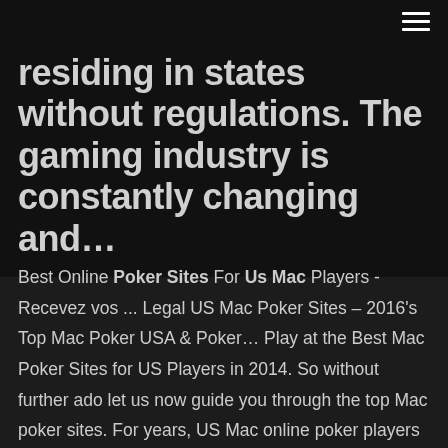residing in states without regulations. The gaming industry is constantly changing and…
Best Online Poker Sites For Us Mac Players - Recevez vos ... Legal US Mac Poker Sites – 2016's Top Mac Poker USA & Poker… Play at the Best Mac Poker Sites for US Players in 2014. So without further ado let us now guide you through the top Mac poker sites. For years, US Mac online poker players have been left out in the cold when it comes to supported, downloadable online poker sites for Mac computers. US Poker Sites - Legal Gambling and The Law US Poker Sites – Legal US Online Real Money Poker Sites for 2019 Let's cut to the chase. The unfortunate truth is that most US players are still unable to enjoy the beautiful game